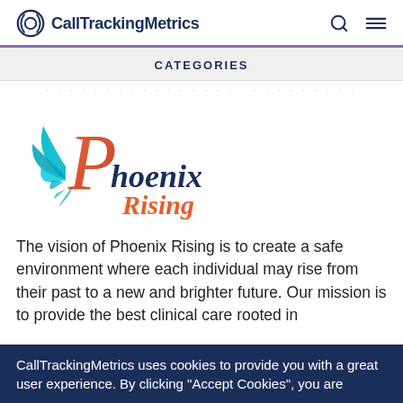CallTrackingMetrics
CATEGORIES
[Figure (logo): Phoenix Rising logo with stylized phoenix bird in teal and red/orange colors, with text 'Phoenix Rising' in gradient red/orange]
The vision of Phoenix Rising is to create a safe environment where each individual may rise from their past to a new and brighter future. Our mission is to provide the best clinical care rooted in
CallTrackingMetrics uses cookies to provide you with a great user experience. By clicking "Accept Cookies", you are